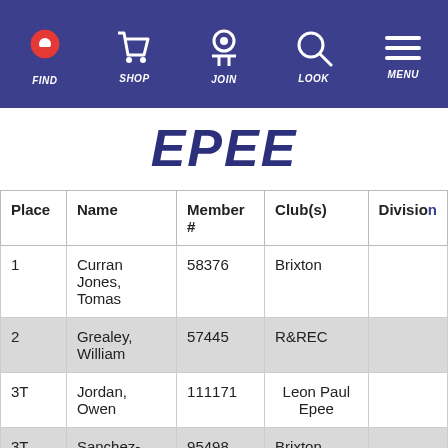FIND  SHOP  JOIN  LOOK  MENU
EPEE
| Place | Name | Member # | Club(s) | Division |
| --- | --- | --- | --- | --- |
| 1 | Curran Jones, Tomas | 58376 | Brixton |  |
| 2 | Grealey, William | 57445 | R&REC |  |
| 3T | Jordan, Owen | 111171 | Leon Paul Epee |  |
| 3T | Sanchez-Lethem, Paul | 95498 | Brixton |  |